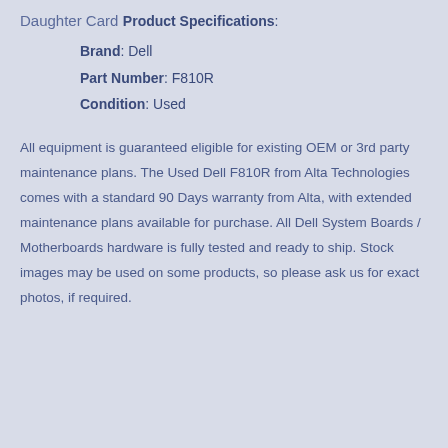Daughter Card
Product Specifications:
Brand: Dell
Part Number: F810R
Condition: Used
All equipment is guaranteed eligible for existing OEM or 3rd party maintenance plans. The Used Dell F810R from Alta Technologies comes with a standard 90 Days warranty from Alta, with extended maintenance plans available for purchase. All Dell System Boards / Motherboards hardware is fully tested and ready to ship. Stock images may be used on some products, so please ask us for exact photos, if required.